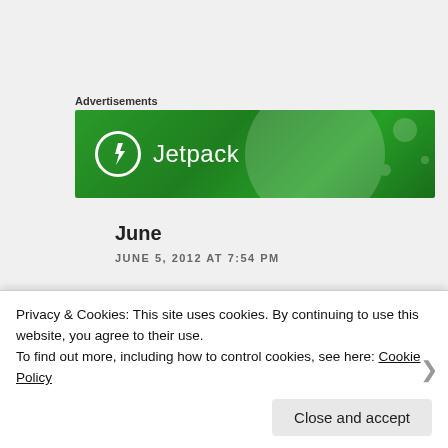Advertisements
[Figure (illustration): Jetpack advertisement banner — green background with Jetpack logo (lightning bolt in circle) and text 'Jetpack']
June
JUNE 5, 2012 AT 7:54 PM
Sadly, graduation doesn't solve Grad School Barbie's problems. If she's lucky, she turns into Assistant Professor Barbie, with whole new
Privacy & Cookies: This site uses cookies. By continuing to use this website, you agree to their use.
To find out more, including how to control cookies, see here: Cookie Policy
Close and accept